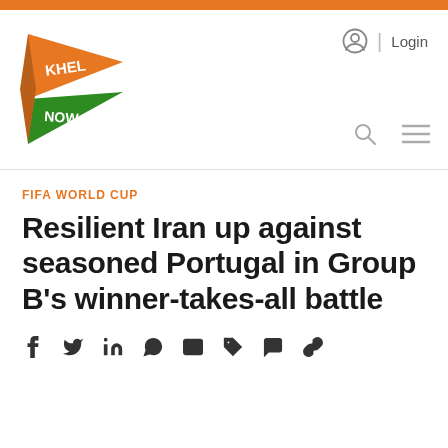[Figure (logo): KhelNow pennant-shaped logo in orange and green with white text]
Login
FIFA WORLD CUP
Resilient Iran up against seasoned Portugal in Group B's winner-takes-all battle
[Figure (infographic): Social share icons: Facebook, Twitter, LinkedIn, WhatsApp, Email, Tag, Comment, Link]